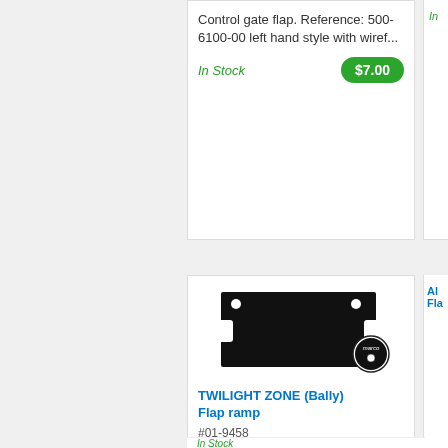Control gate flap. Reference: 500-6100-00 left hand style with wiref...
In Stock
$7.00
[Figure (photo): Black metal flap ramp part for pinball machine, with Marco Specialties logo watermark]
TWILIGHT ZONE (Bally) Flap ramp
#01-9458
TWILIGHT ZONE (Bally) Flap ramp
In Stock